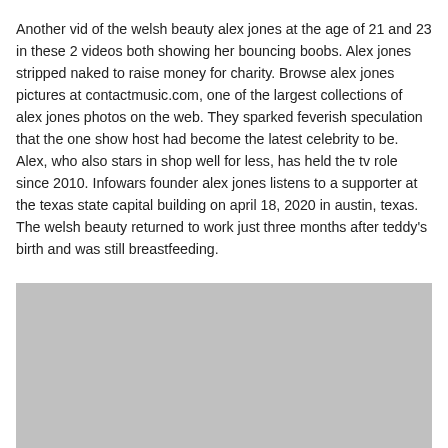Another vid of the welsh beauty alex jones at the age of 21 and 23 in these 2 videos both showing her bouncing boobs. Alex jones stripped naked to raise money for charity. Browse alex jones pictures at contactmusic.com, one of the largest collections of alex jones photos on the web. They sparked feverish speculation that the one show host had become the latest celebrity to be. Alex, who also stars in shop well for less, has held the tv role since 2010. Infowars founder alex jones listens to a supporter at the texas state capital building on april 18, 2020 in austin, texas. The welsh beauty returned to work just three months after teddy's birth and was still breastfeeding.
[Figure (photo): A large gray/silver placeholder image rectangle occupying the lower portion of the page.]